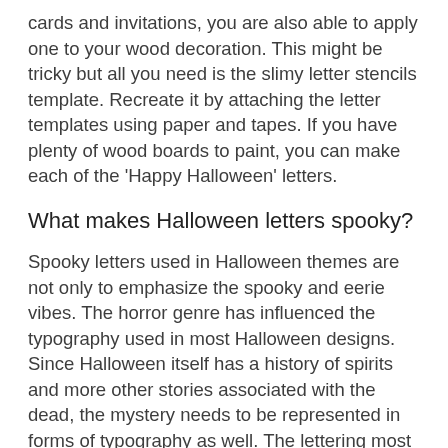cards and invitations, you are also able to apply one to your wood decoration. This might be tricky but all you need is the slimy letter stencils template. Recreate it by attaching the letter templates using paper and tapes. If you have plenty of wood boards to paint, you can make each of the 'Happy Halloween' letters.
What makes Halloween letters spooky?
Spooky letters used in Halloween themes are not only to emphasize the spooky and eerie vibes. The horror genre has influenced the typography used in most Halloween designs. Since Halloween itself has a history of spirits and more other stories associated with the dead, the mystery needs to be represented in forms of typography as well. The lettering most of the time leaves an impression of terror with dripping blood, sharp and scary ornaments. However not all terror and horror always seem gore. As well used in the movies, many sharp and classic letters could bring the audience